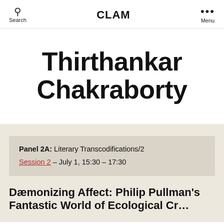Search  CLAM  Menu
Thirthankar Chakraborty
Panel 2A: Literary Transcodifications/2
Session 2 – July 1, 15:30 – 17:30
Dæmonizing Affect: Philip Pullman's Fantastic World of Ecological Cr...